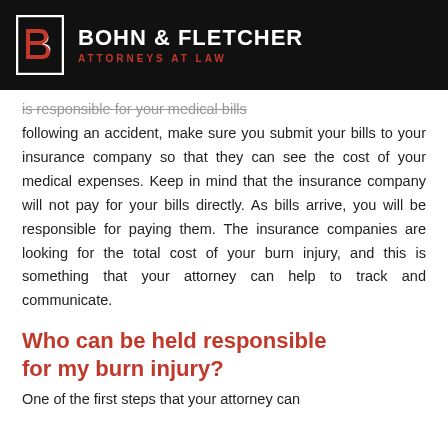Bohn & Fletcher | Attorneys at Law
is responsible for your medical bills following an accident, make sure you submit your bills to your insurance company so that they can see the cost of your medical expenses. Keep in mind that the insurance company will not pay for your bills directly. As bills arrive, you will be responsible for paying them. The insurance companies are looking for the total cost of your burn injury, and this is something that your attorney can help to track and communicate.
Who can be held responsible for my burn injury?
One of the first steps that your attorney can